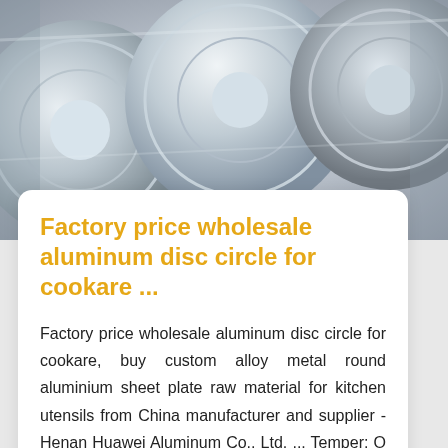[Figure (photo): Close-up photo of shiny aluminum disc circles / coils stacked, metallic silver color]
Factory price wholesale aluminum disc circle for cookare ...
Factory price wholesale aluminum disc circle for cookare, buy custom alloy metal round aluminium sheet plate raw material for kitchen utensils from China manufacturer and supplier - Henan Huawei Aluminum Co., Ltd. ... Temper: O - H112, T3 - T8, T351 - T851 etc; Diameter: 80mm - 1600mm;